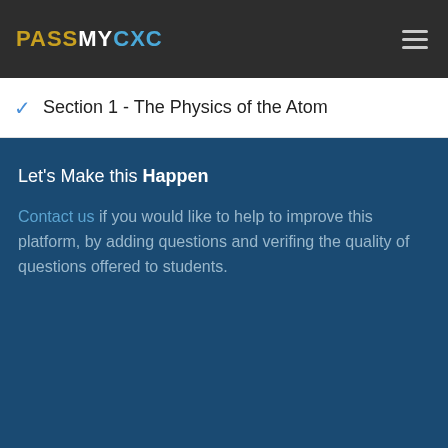PASSMYCXC
Section 1 - The Physics of the Atom
Let's Make this Happen
Contact us if you would like to help to improve this platform, by adding questions and verifing the quality of questions offered to students.